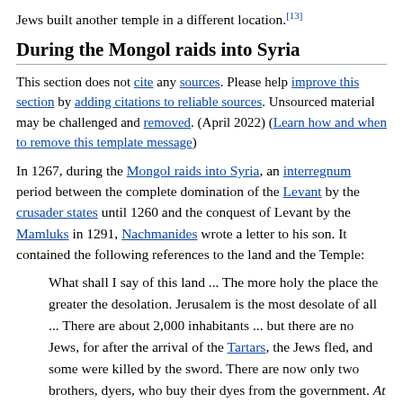Jews built another temple in a different location.[13]
During the Mongol raids into Syria
This section does not cite any sources. Please help improve this section by adding citations to reliable sources. Unsourced material may be challenged and removed. (April 2022) (Learn how and when to remove this template message)
In 1267, during the Mongol raids into Syria, an interregnum period between the complete domination of the Levant by the crusader states until 1260 and the conquest of Levant by the Mamluks in 1291, Nachmanides wrote a letter to his son. It contained the following references to the land and the Temple:
What shall I say of this land ... The more holy the place the greater the desolation. Jerusalem is the most desolate of all ... There are about 2,000 inhabitants ... but there are no Jews, for after the arrival of the Tartars, the Jews fled, and some were killed by the sword. There are now only two brothers, dyers, who buy their dyes from the government. At their place a quorum of worshippers meets on the Sabbath, and we encourage them, and found a ruined house, built on pillars, with a beautiful dome, and made it into a